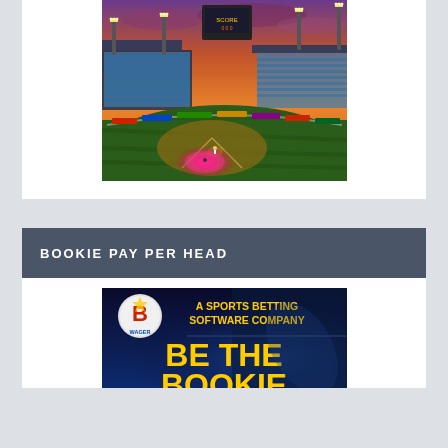[Figure (photo): Baseball stadium at sunset/dusk with orange sky, stadium lights, green field, players on the diamond, and a pink/red highlighted zone near home plate. Crowds visible in the stands.]
BOOKIE PAY PER HEAD
[Figure (photo): Advertisement for BWager, a sports betting software company. Shows the BWager logo (B in a circle) on the left, text 'A SPORTS BETTING SOFTWARE COMPANY' in gold/yellow on dark background, and large text 'BE THE BOOKIE' partially visible at the bottom.]